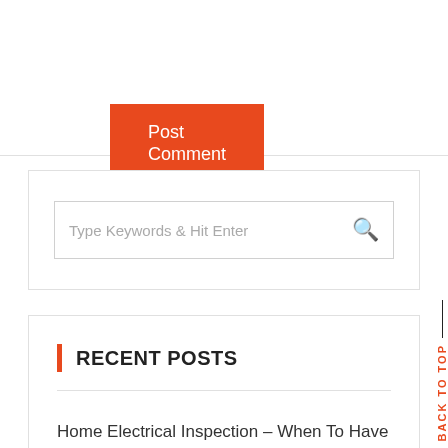Post Comment
[Figure (screenshot): Search box with placeholder text 'Type Keywords & Hit Enter' and a search icon]
RECENT POSTS
Home Electrical Inspection – When To Have It And The Importance